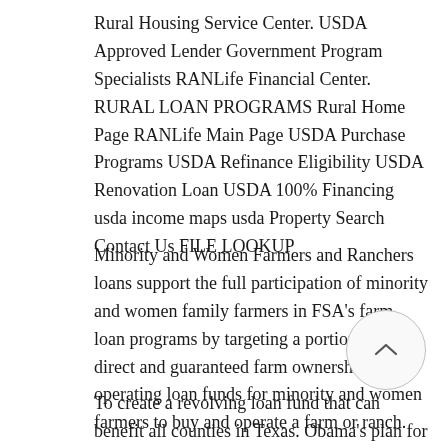Rural Housing Service Center. USDA Approved Lender Government Program Specialists RANLife Financial Center. RURAL LOAN PROGRAMS Rural Home Page RANLife Main Page USDA Purchase Programs USDA Refinance Eligibility USDA Renovation Loan USDA 100% Financing usda income maps usda Property Search Contact Us FILE LOOKUP
Minority and Women Farmers and Ranchers loans support the full participation of minority and women family farmers in FSA's farm loan programs by targeting a portion of its direct and guaranteed farm ownership and operating loan funds for minority and women farmers to buy and operate a farm or ranch.
To create a revolving loan fund that can benefit all counties in Texas. Obama's plan for rural America has